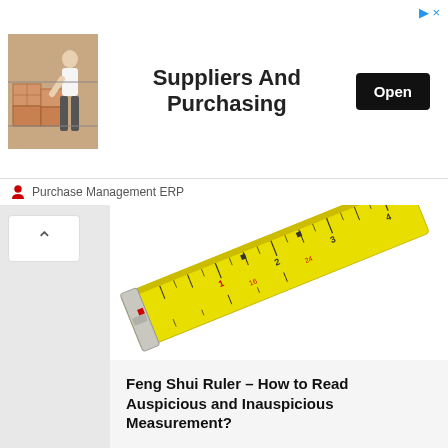[Figure (screenshot): Advertisement banner for Purchase Management ERP showing warehouse/boxes image, bold text 'Suppliers And Purchasing', and a black 'Open' button. Bottom bar shows person icon and 'Purchase Management ERP' text.]
[Figure (photo): Photo of a yellow tape measure (measuring tape) on a white background, angled diagonally with numbers visible on the tape.]
Feng Shui Ruler – How to Read Auspicious and Inauspicious Measurement?
Feng Shui ruler is commonly used to determine the auspicious and inauspicious dimension for furnitures at home, do you know how to use one?